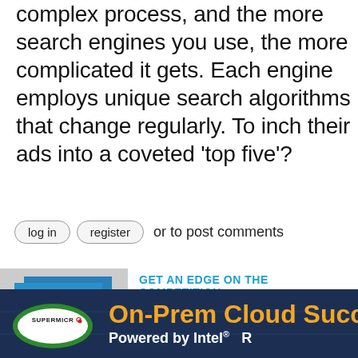complex process, and the more search engines you use, the more complicated it gets. Each engine employs unique search algorithms that change regularly. To inch their ads into a coveted 'top five'?
log in  register  or to post comments
[Figure (photo): ChannelPro magazine covers stacked]
GET AN EDGE ON THE COMPETITION
With each issue packed full of powerful news, reviews, analysis, and advice targeting IT channel professionals, ChannelPro-
[Figure (infographic): Supermicro advertisement banner: On-Prem Cloud Success Powered by Intel]